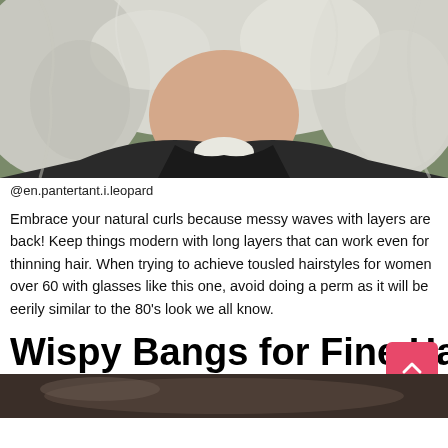[Figure (photo): Close-up photo of a woman with long curly silver/white wavy hair wearing a dark jacket over a white top, outdoor background]
@en.pantertant.i.leopard
Embrace your natural curls because messy waves with layers are back! Keep things modern with long layers that can work even for thinning hair. When trying to achieve tousled hairstyles for women over 60 with glasses like this one, avoid doing a perm as it will be eerily similar to the 80's look we all know.
Wispy Bangs for Fine Ha
[Figure (photo): Bottom portion of another photo, partially visible, showing hair styling example]